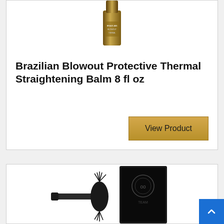[Figure (photo): Brazilian Blowout Protective Thermal Straightening Balm product bottle, partially visible at top of card]
Brazilian Blowout Protective Thermal Straightening Balm 8 fl oz
View Product
[Figure (photo): Hair styling brush/round brush with black bristles and product box, partially visible at bottom of page]